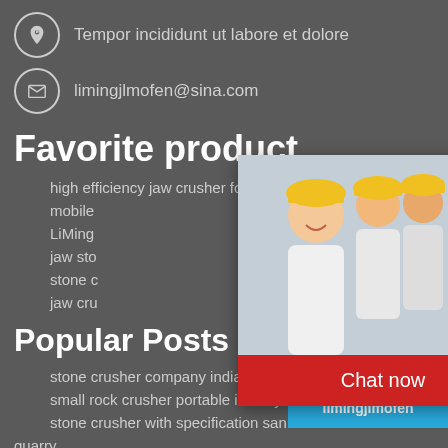Tempor incididunt ut labore et dolore
limingjlmofen@sina.com
Favorite product
high efficiency jaw crusher for mining
mobile
LiMing
jaw sto
stone c
jaw cru
Popular Posts
stone crusher company india
small rock crusher portable in kenya
stone crusher with specification sand quarry
marina services nigeria
townsville marine bar crusher 780
[Figure (photo): Live chat popup with workers in hard hats and LIVE CHAT label in red, with Chat now and Chat later buttons]
[Figure (photo): Right sidebar with crusher machine image, Click me to chat button, Enquiry text, and limingjlmofen text]